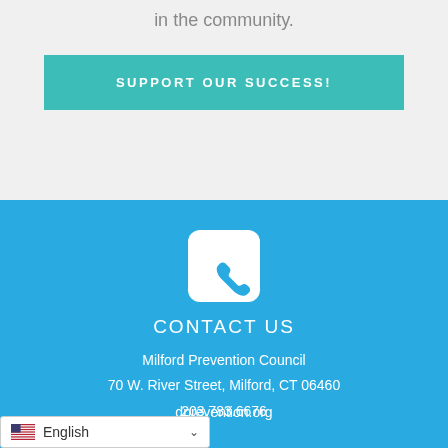in the community.
SUPPORT OUR SUCCESS!
[Figure (illustration): White phone handset icon on rounded white rectangle background, centered on blue background]
CONTACT US
Milford Prevention Council
70 W. River Street, Milford, CT 06460
203.783.6676
...dprevention.org
English (language selector widget)